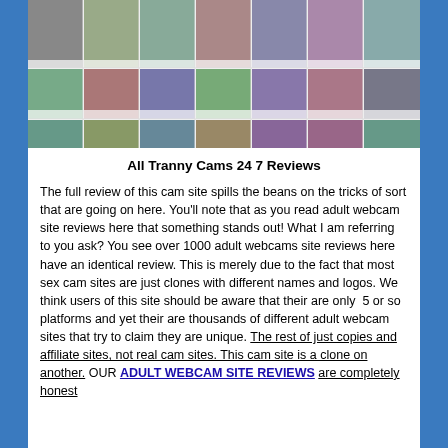[Figure (screenshot): Grid of webcam thumbnail images showing multiple rows and columns of adult webcam performers with usernames and tags below each image.]
All Tranny Cams 24 7 Reviews
The full review of this cam site spills the beans on the tricks of sort that are going on here. You'll note that as you read adult webcam site reviews here that something stands out! What I am referring to you ask? You see over 1000 adult webcams site reviews here have an identical review. This is merely due to the fact that most sex cam sites are just clones with different names and logos. We think users of this site should be aware that their are only  5 or so platforms and yet their are thousands of different adult webcam sites that try to claim they are unique. The rest of just copies and affiliate sites, not real cam sites. This cam site is a clone on another. OUR ADULT WEBCAM SITE REVIEWS are completely honest